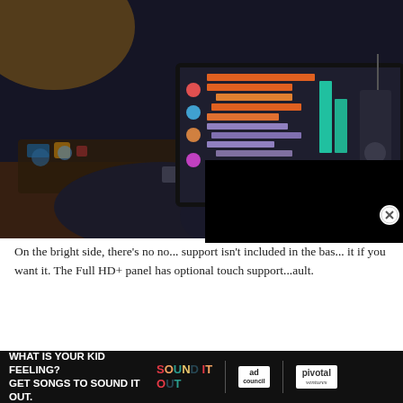[Figure (photo): A person using a laptop showing a digital audio workstation (DAW) interface with colorful track lanes and a mixer/equalizer display, in a dark studio environment with electronic components visible on a workbench.]
On the bright side, there's no no... support isn't included in the bas... it if you want it. The Full HD+ panel has optional touch support... ault.
[Figure (other): Advertisement overlay: 'WHAT IS YOUR KID FEELING? GET SONGS TO SOUND IT OUT.' with Sound It Out logo, Ad Council logo, and Pivotal branding on black background.]